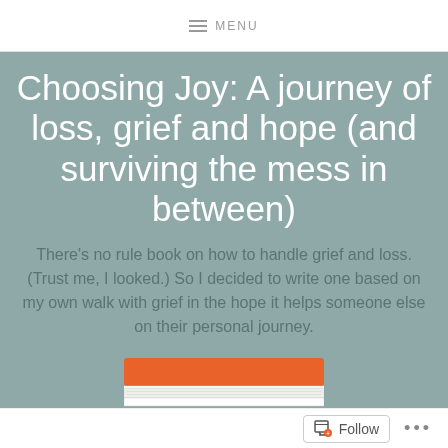MENU
Choosing Joy: A journey of loss, grief and hope (and surviving the mess in between)
There's no rule book on how to handle grief and loss. (Trust me, I looked.) So I decided to write one based on my own walk with grief in the hope it helps someone else on their personal journey.
[Figure (illustration): Partial view of a book with an orange cover, showing the top edge and white pages below.]
Follow ...